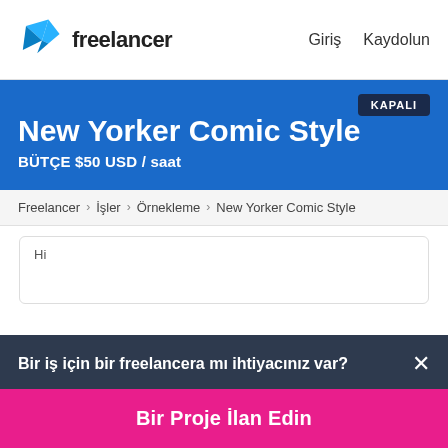freelancer  Giriş  Kaydolun
New Yorker Comic Style
BÜTÇE $50 USD / saat
KAPALI
Freelancer › İşler › Örnekleme › New Yorker Comic Style
Hi
Bir iş için bir freelancera mı ihtiyacınız var? ×
Bir Proje İlan Edin